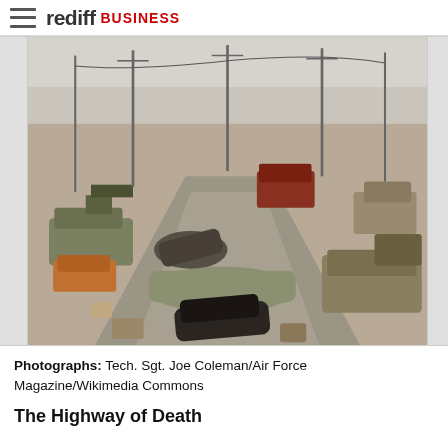rediff BUSINESS
[Figure (photo): Photograph showing destroyed and abandoned military and civilian vehicles strewn across a desert highway, the Highway of Death. Wrecked tanks, trucks, cars, and debris litter both sides of a road in a barren landscape with utility poles in the background.]
Photographs: Tech. Sgt. Joe Coleman/Air Force Magazine/Wikimedia Commons
The Highway of Death